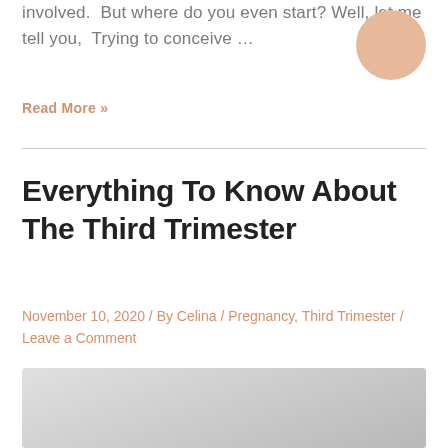involved.  But where do you even start? Well, let me tell you,  Trying to conceive …
Read More »
Everything To Know About The Third Trimester
November 10, 2020 / By Celina / Pregnancy, Third Trimester / Leave a Comment
[Figure (photo): Article featured image placeholder with light gray gradient background]